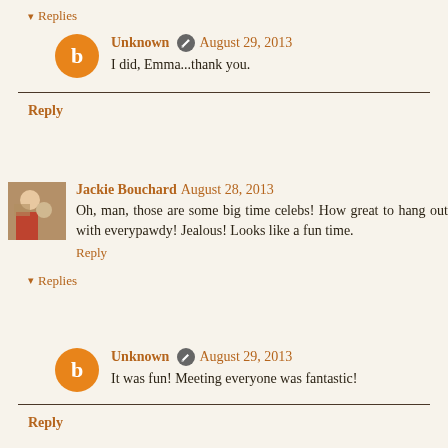▾ Replies
Unknown  August 29, 2013
I did, Emma...thank you.
Reply
Jackie Bouchard  August 28, 2013
Oh, man, those are some big time celebs! How great to hang out with everypawdy! Jealous! Looks like a fun time.
Reply
▾ Replies
Unknown  August 29, 2013
It was fun! Meeting everyone was fantastic!
Reply